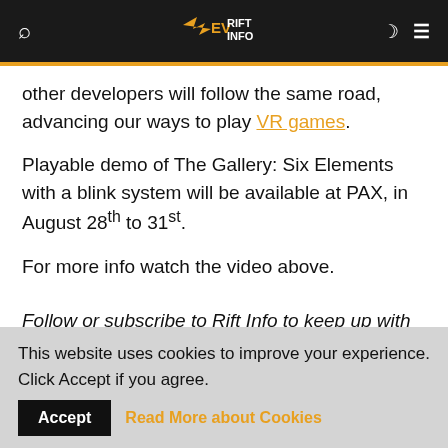EVRIFTINO
other developers will follow the same road, advancing our ways to play VR games.
Playable demo of The Gallery: Six Elements with a blink system will be available at PAX, in August 28th to 31st.
For more info watch the video above.
Follow or subscribe to Rift Info to keep up with latest VR news!
This website uses cookies to improve your experience. Click Accept if you agree.